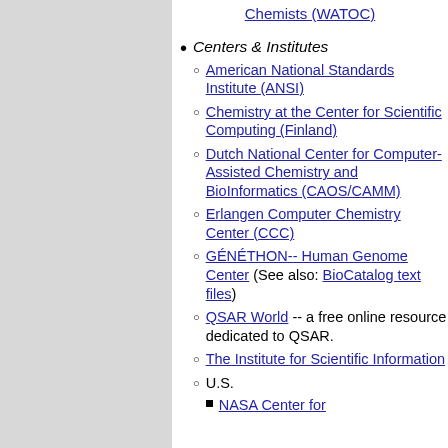Chemists (WATOC) [link at top]
Centers & Institutes (bullet)
American National Standards Institute (ANSI)
Chemistry at the Center for Scientific Computing (Finland)
Dutch National Center for Computer-Assisted Chemistry and BioInformatics (CAOS/CAMM)
Erlangen Computer Chemistry Center (CCC)
GÉNÉTHON-- Human Genome Center (See also: BioCatalog text files)
QSAR World -- a free online resource dedicated to QSAR.
The Institute for Scientific Information
U.S.
NASA Center for